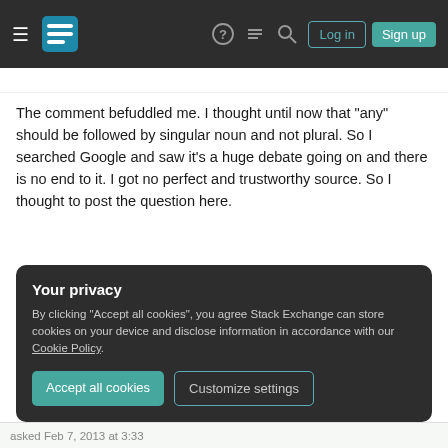Stack Exchange navigation bar with Log in and Sign up buttons
The comment befuddled me. I thought until now that "any" should be followed by singular noun and not plural. So I searched Google and saw it's a huge debate going on and there is no end to it. I got no perfect and trustworthy source. So I thought to post the question here.
So what is the right rule? Should singular or plural be used after "any"?
Your privacy
By clicking "Accept all cookies", you agree Stack Exchange can store cookies on your device and disclose information in accordance with our Cookie Policy.
Accept all cookies  Customize settings
asked Feb 7, 2013 at 3:33